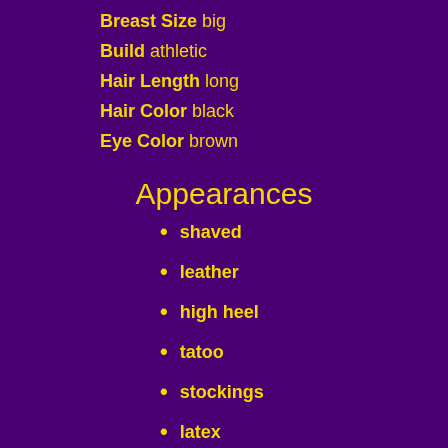Breast Size big
Build athletic
Hair Length long
Hair Color black
Eye Color brown
Appearances
shaved
leather
high heel
tatoo
stockings
latex